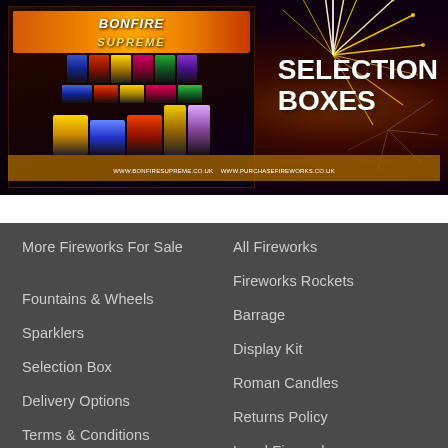[Figure (photo): Fireworks selection boxes promotional banner image with dark background, fireworks burst effects on right side, product box image 'Bonfire Supreme' on left showing multiple firework products, and 'SELECTION BOXES' text in white on right.]
More Fireworks For Sale
All Fireworks
Fireworks Rockets
Fountains & Wheels
Barrage
Sparklers
Display Kit
Selection Box
Roman Candles
Delivery Options
Returns Policy
Terms & Conditions
Local Fireworks